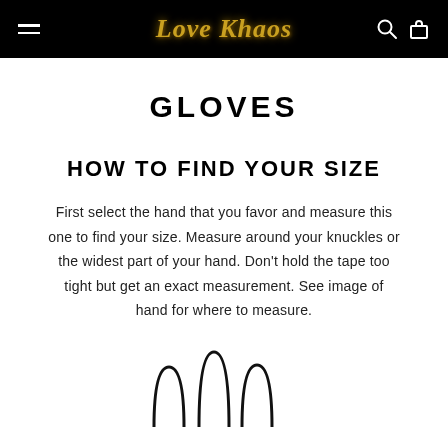Love Khaos [navigation header with logo, hamburger menu, search and bag icons]
GLOVES
HOW TO FIND YOUR SIZE
First select the hand that you favor and measure this one to find your size. Measure around your knuckles or the widest part of your hand. Don't hold the tape too tight but get an exact measurement. See image of hand for where to measure.
[Figure (illustration): Partial illustration of a hand outline at the bottom of the page]